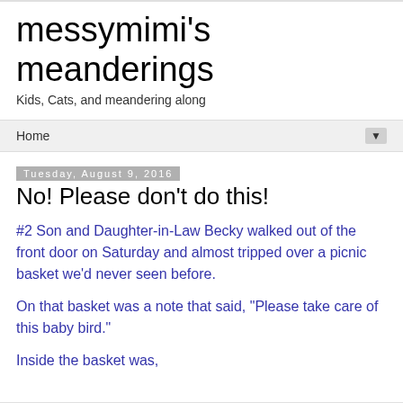messymimi's meanderings
Kids, Cats, and meandering along
Home
Tuesday, August 9, 2016
No! Please don't do this!
#2 Son and Daughter-in-Law Becky walked out of the front door on Saturday and almost tripped over a picnic basket we'd never seen before.
On that basket was a note that said, "Please take care of this baby bird."
Inside the basket was,